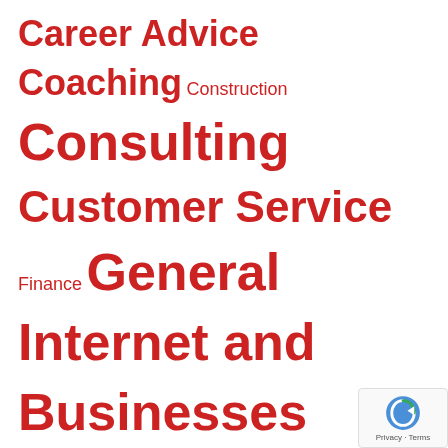Career Advice Coaching Construction Consulting Customer Service Finance General Internet and Businesses Online Job Search Techniques security Services Traveling Wedding Writing
CALENDAR
| M | T | W | T | F | S |  |
| --- | --- | --- | --- | --- | --- | --- |
| 1 | 2 | 3 | 4 | 5 | 6 | 7 |